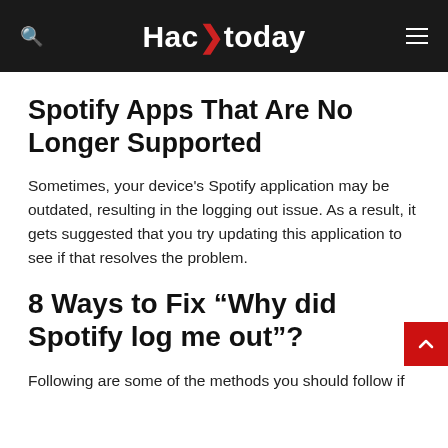Hacktoday
Spotify Apps That Are No Longer Supported
Sometimes, your device's Spotify application may be outdated, resulting in the logging out issue. As a result, it gets suggested that you try updating this application to see if that resolves the problem.
8 Ways to Fix “Why did Spotify log me out”?
Following are some of the methods you should follow if